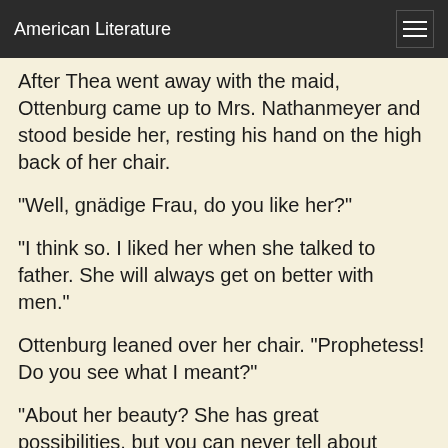American Literature
After Thea went away with the maid, Ottenburg came up to Mrs. Nathanmeyer and stood beside her, resting his hand on the high back of her chair.
"Well, gnädige Frau, do you like her?"
"I think so. I liked her when she talked to father. She will always get on better with men."
Ottenburg leaned over her chair. "Prophetess! Do you see what I meant?"
"About her beauty? She has great possibilities, but you can never tell about those Northern women. They look so strong, but they are easily battered. The face falls so early under those wide cheek-